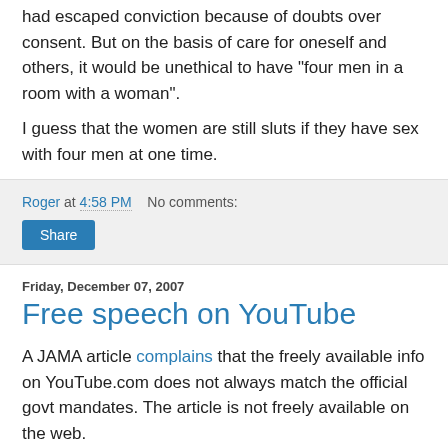had escaped conviction because of doubts over consent. But on the basis of care for oneself and others, it would be unethical to have "four men in a room with a woman".
I guess that the women are still sluts if they have sex with four men at one time.
Roger at 4:58 PM   No comments:
Share
Friday, December 07, 2007
Free speech on YouTube
A JAMA article complains that the freely available info on YouTube.com does not always match the official govt mandates. The article is not freely available on the web.
Roger at 8:24 AM   No comments: